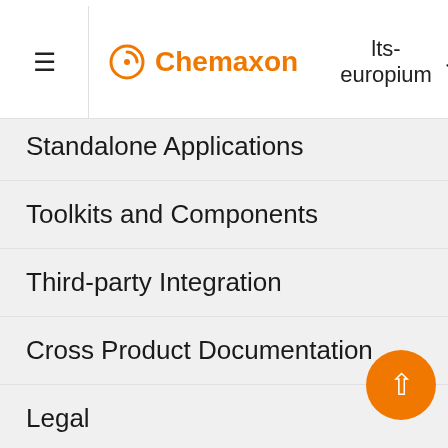Chemaxon — lts-europium
Standalone Applications
Toolkits and Components
Third-party Integration
Cross Product Documentation
Legal
Discontinued Products